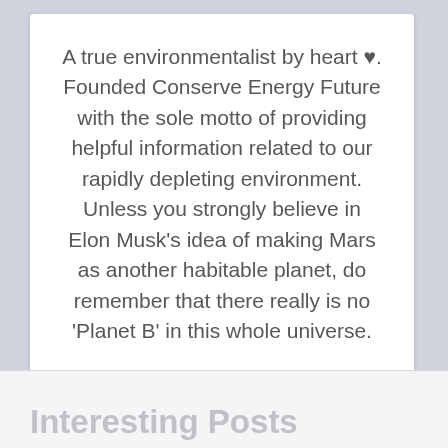A true environmentalist by heart ♥. Founded Conserve Energy Future with the sole motto of providing helpful information related to our rapidly depleting environment. Unless you strongly believe in Elon Musk's idea of making Mars as another habitable planet, do remember that there really is no 'Planet B' in this whole universe.
Interesting Posts